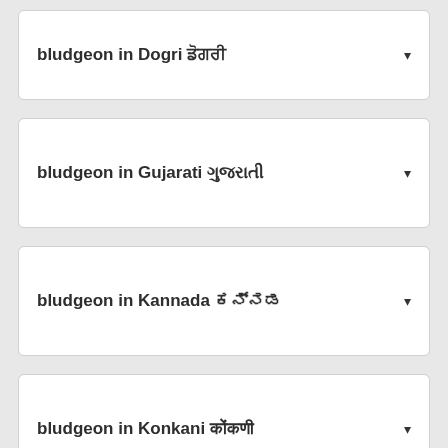bludgeon in Dogri डोगरी
bludgeon in Gujarati ગુજરાતી
bludgeon in Kannada ಕನ್ನಡ
bludgeon in Konkani कोंकणी